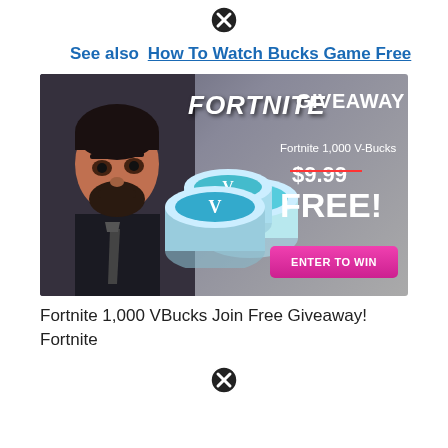[Figure (other): Close/dismiss button (X icon) at top center of ad overlay]
See also  How To Watch Bucks Game Free
[Figure (illustration): Fortnite 1,000 V-Bucks Giveaway advertisement banner showing a Fortnite character in a suit, V-Bucks coins, text: FORTNITE GIVEAWAY, Fortnite 1,000 V-Bucks, $9.99 (strikethrough), FREE!, and a pink ENTER TO WIN button]
Fortnite 1,000 VBucks Join Free Giveaway! Fortnite
[Figure (other): Close/dismiss button (X icon) at bottom center of ad overlay]